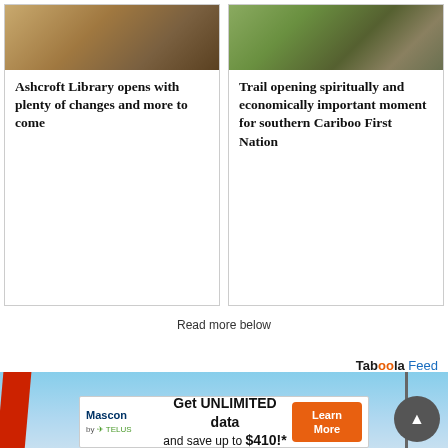[Figure (photo): Interior photo of Ashcroft Library showing chairs and furniture on a floor]
Ashcroft Library opens with plenty of changes and more to come
[Figure (photo): Outdoor trail photo with vegetation and rocky terrain for southern Cariboo First Nation story]
Trail opening spiritually and economically important moment for southern Cariboo First Nation
Read more below
Taboola Feed
[Figure (photo): Banner advertisement with sky and power pole background, red stripe element]
[Figure (infographic): Mascon by TELUS advertisement: Get UNLIMITED data and save up to $410!* with Learn More button]